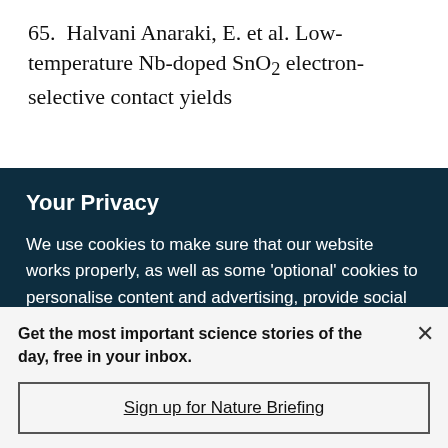65. Halvani Anaraki, E. et al. Low-temperature Nb-doped SnO₂ electron-selective contact yields
Your Privacy
We use cookies to make sure that our website works properly, as well as some 'optional' cookies to personalise content and advertising, provide social media features and analyse how people use our site. By accepting some or all optional cookies you give consent to the processing of your personal data, including transfer to third parties, some in countries outside of the European Economic Area that do not offer the same data protection standards as the country where you live. You can decide which optional cookies to accept by clicking on 'Manage Settings', where you can
Get the most important science stories of the day, free in your inbox.
Sign up for Nature Briefing